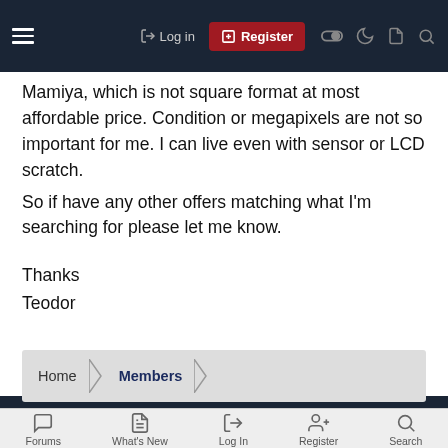Log in | Register
Mamiya, which is not square format at most affordable price. Condition or megapixels are not so important for me. I can live even with sensor or LCD scratch.
So if have any other offers matching what I'm searching for please let me know.

Thanks
Teodor
Home > Members | Forums | What's New | Log In | Register | Search